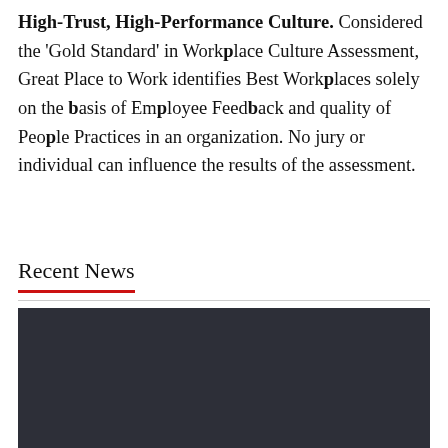High-Trust, High-Performance Culture. Considered the 'Gold Standard' in Workplace Culture Assessment, Great Place to Work identifies Best Workplaces solely on the basis of Employee Feedback and quality of People Practices in an organization. No jury or individual can influence the results of the assessment.
Recent News
[Figure (photo): Dark/black image panel below the Recent News section header]